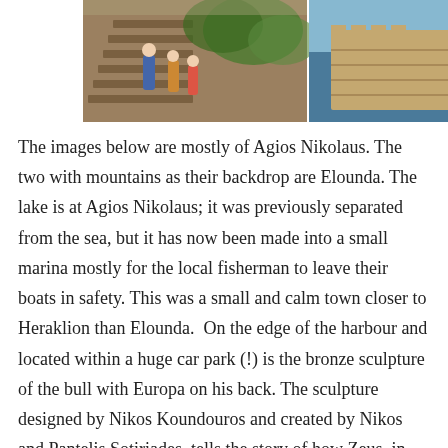[Figure (photo): Two side-by-side travel photographs. Left photo shows tourists walking up stone steps in a narrow alley with greenery overhead, in bright sunlight. Right photo shows a stone fortress or fortified wall by the sea with a domed tower, under a clear sky.]
The images below are mostly of Agios Nikolaus. The two with mountains as their backdrop are Elounda. The lake is at Agios Nikolaus; it was previously separated from the sea, but it has now been made into a small marina mostly for the local fisherman to leave their boats in safety. This was a small and calm town closer to Heraklion than Elounda.  On the edge of the harbour and located within a huge car park (!) is the bronze sculpture of the bull with Europa on his back. The sculpture designed by Nikos Koundouros and created by Nikos and Pantelis Sotiriades, tells the story of how Zeus, in love with the princess he called Europa, changed into a white bull; she jumped onto his back